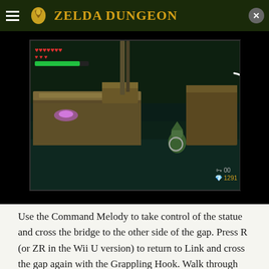Zelda Dungeon
[Figure (screenshot): Game screenshot from The Legend of Zelda showing Link in a dungeon environment with stone floors and platforms. A loading arc is visible on the right side. HUD shows hearts and a green stamina bar in top left. Bottom right shows rupee and key counts: 00 and 1291.]
Use the Command Melody to take control of the statue and cross the bridge to the other side of the gap. Press R (or ZR in the Wii U version) to return to Link and cross the gap again with the Grappling Hook. Walk through the door back into the previous room.